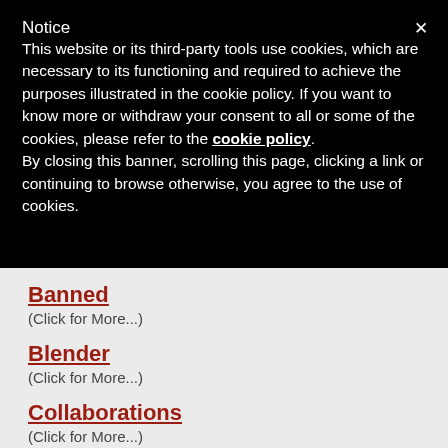Notice
This website or its third-party tools use cookies, which are necessary to its functioning and required to achieve the purposes illustrated in the cookie policy. If you want to know more or withdraw your consent to all or some of the cookies, please refer to the cookie policy.
By closing this banner, scrolling this page, clicking a link or continuing to browse otherwise, you agree to the use of cookies.
Banned
(Click for More...)
Blender
(Click for More...)
Collaborations
(Click for More...)